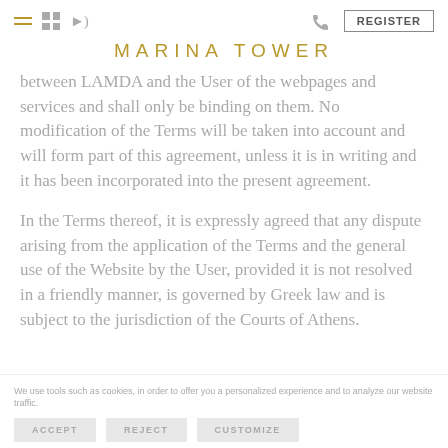MARINA TOWER
between LAMDA and the User of the webpages and services and shall only be binding on them. No modification of the Terms will be taken into account and will form part of this agreement, unless it is in writing and it has been incorporated into the present agreement.
In the Terms thereof, it is expressly agreed that any dispute arising from the application of the Terms and the general use of the Website by the User, provided it is not resolved in a friendly manner, is governed by Greek law and is subject to the jurisdiction of the Courts of Athens.
We use tools such as cookies, in order to offer you a personalized experience and to analyze our website traffic.